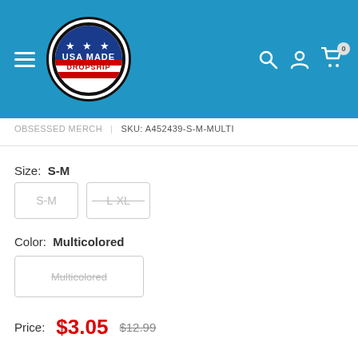[Figure (logo): USA Made Dropship circular logo with American flag design — stars on blue background top, red and white stripes bottom, black border]
OBSESSED MERCH  |  SKU: A452439-S-M-MULTI
Size:  S-M
S-M
L XL
Color:  Multicolored
Multicolored
Price:  $3.05  $12.99